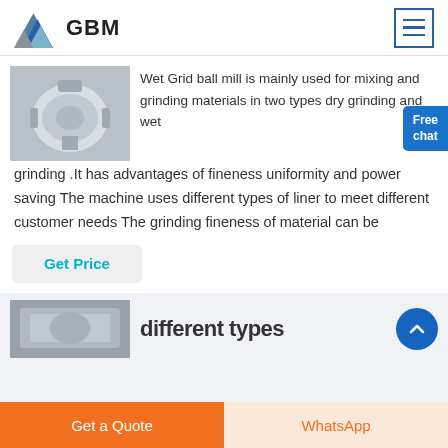[Figure (logo): GBM company logo with blue/grey mountain shape and bold GBM text]
Wet Grid ball mill is mainly used for mixing and grinding materials in two types dry grinding and wet grinding .It has advantages of fineness uniformity and power saving The machine uses different types of liner to meet different customer needs The grinding fineness of material can be
[Figure (photo): Industrial ball mill machine, grey/white cylindrical equipment]
Get Price
[Figure (photo): Industrial equipment, partially visible at bottom]
different types of ...
Get a Quote
WhatsApp